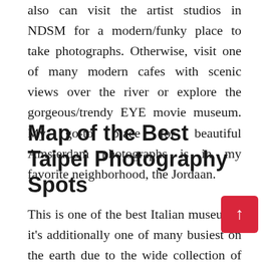also can visit the artist studios in NDSM for a modern/funky place to take photographs. Otherwise, visit one of many modern cafes with scenic views over the river or explore the gorgeous/trendy EYE movie museum. My go-to place for beautiful Amsterdam photographs is in my favorite neighborhood, the Jordaan.
Map of the Best Taipei Photography Spots
This is one of the best Italian museums, it's additionally one of many busiest on the earth due to the wide collection of masterpieces. We get it in our private listing of instagrammable locations in Firenze due to the superior facades, the column that provides you the nice and cozy welcome to the gathering is simply gorgeous